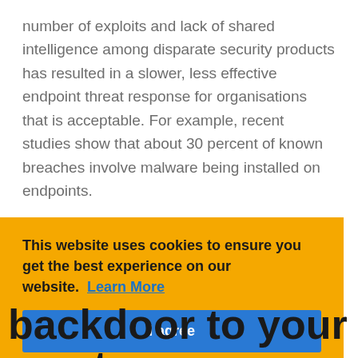number of exploits and lack of shared intelligence among disparate security products has resulted in a slower, less effective endpoint threat response for organisations that is acceptable. For example, recent studies show that about 30 percent of known breaches involve malware being installed on endpoints.

An effective Cyber Security strategy should therefore include Endpoint Security as it is one of the most critical
This website uses cookies to ensure you get the best experience on our website. Learn More
I agree
backdoor to your most